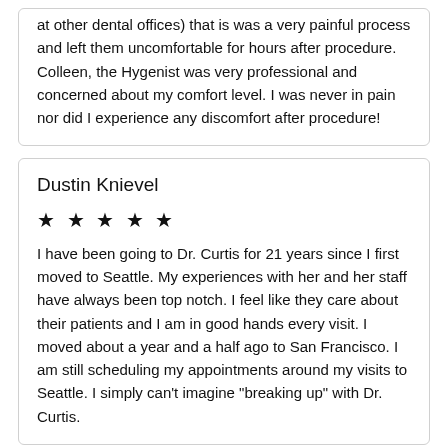at other dental offices) that is was a very painful process and left them uncomfortable for hours after procedure. Colleen, the Hygenist was very professional and concerned about my comfort level. I was never in pain nor did I experience any discomfort after procedure!
Dustin Knievel
★ ★ ★ ★ ★
I have been going to Dr. Curtis for 21 years since I first moved to Seattle. My experiences with her and her staff have always been top notch. I feel like they care about their patients and I am in good hands every visit. I moved about a year and a half ago to San Francisco. I am still scheduling my appointments around my visits to Seattle. I simply can't imagine "breaking up" with Dr. Curtis.
Katy